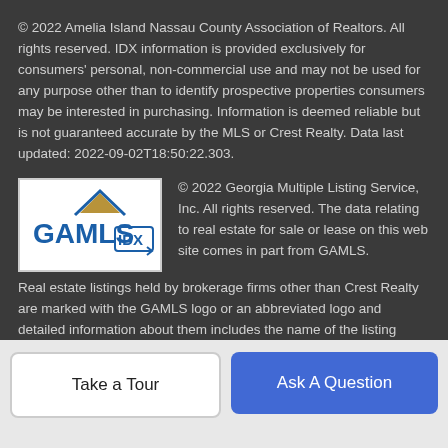© 2022 Amelia Island Nassau County Association of Realtors. All rights reserved. IDX information is provided exclusively for consumers' personal, non-commercial use and may not be used for any purpose other than to identify prospective properties consumers may be interested in purchasing. Information is deemed reliable but is not guaranteed accurate by the MLS or Crest Realty. Data last updated: 2022-09-02T18:50:22.303.
[Figure (logo): GAMLS IDX logo — white background with blue GAMLS text and IDX with arrow graphic]
© 2022 Georgia Multiple Listing Service, Inc. All rights reserved. The data relating to real estate for sale or lease on this web site comes in part from GAMLS. Real estate listings held by brokerage firms other than Crest Realty are marked with the GAMLS logo or an abbreviated logo and detailed information about them includes the name of the listing broker. IDX information is provided exclusively for consumers' personal, non-commercial use and may not be used for any purpose other than to identify prospective properties consumers may be interested in
prospective properties consumers may be interested in
Take a Tour
Ask A Question